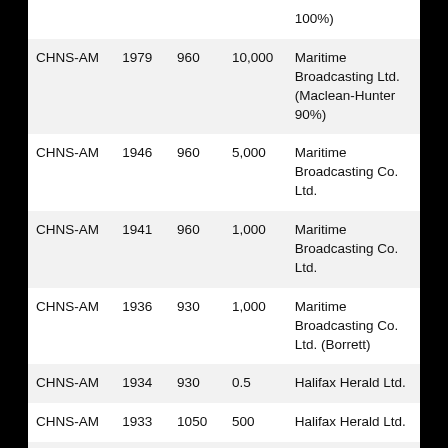| Call Sign | Year | Freq | Power | Owner |
| --- | --- | --- | --- | --- |
|  |  |  |  | 100%) |
| CHNS-AM | 1979 | 960 | 10,000 | Maritime Broadcasting Ltd. (Maclean-Hunter 90%) |
| CHNS-AM | 1946 | 960 | 5,000 | Maritime Broadcasting Co. Ltd. |
| CHNS-AM | 1941 | 960 | 1,000 | Maritime Broadcasting Co. Ltd. |
| CHNS-AM | 1936 | 930 | 1,000 | Maritime Broadcasting Co. Ltd. (Borrett) |
| CHNS-AM | 1934 | 930 | 0.5 | Halifax Herald Ltd. |
| CHNS-AM | 1933 | 1050 | 500 | Halifax Herald Ltd. |
| CHNS-AM | 1930 | 910 | 500 | Halifax Herald Ltd. |